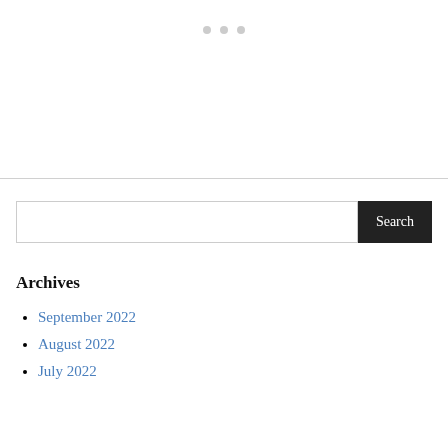[Figure (other): Three grey dots/circles arranged horizontally near the top center of the page, representing a carousel or pagination indicator]
Search
Archives
September 2022
August 2022
July 2022